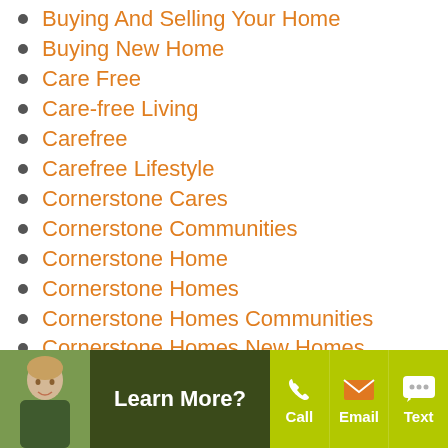Buying And Selling Your Home
Buying New Home
Care Free
Care-free Living
Carefree
Carefree Lifestyle
Cornerstone Cares
Cornerstone Communities
Cornerstone Home
Cornerstone Homes
Cornerstone Homes Communities
Cornerstone Homes New Homes
Cornerstone New Homes
Declutter
Downsizing
Dream Home
Dream Kitchen
[Figure (infographic): Footer bar with photo of a woman, 'Learn More?' text, and call/email/text action buttons on a dark green and yellow-green background]